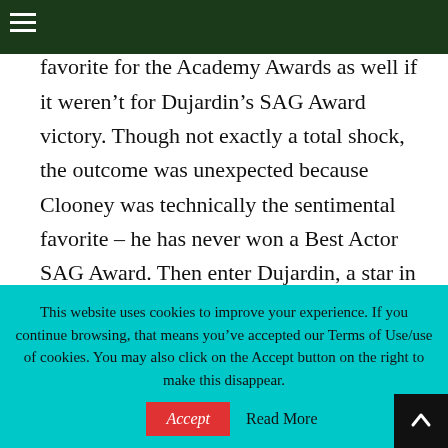≡
tics' favorite, and would've been the favorite for the Academy Awards as well if it weren't for Dujardin's SAG Award victory. Though not exactly a total shock, the outcome was unexpected because Clooney was technically the sentimental favorite – he has never won a Best Actor SAG Award. Then enter Dujardin, a star in France but all but unknown in the United States, to claim the trophy as his own.
This website uses cookies to improve your experience. If you continue browsing, that means you've accepted our Terms of Use/use of cookies. You may also click on the Accept button on the right to make this disappear.